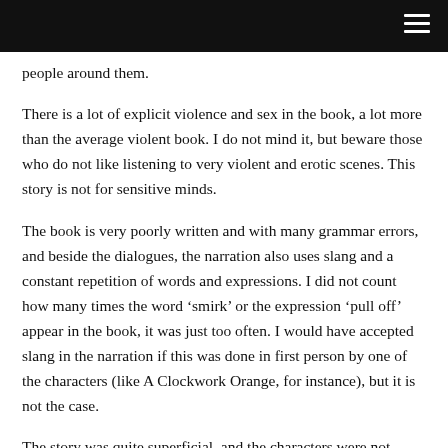people around them.
There is a lot of explicit violence and sex in the book, a lot more than the average violent book. I do not mind it, but beware those who do not like listening to very violent and erotic scenes. This story is not for sensitive minds.
The book is very poorly written and with many grammar errors, and beside the dialogues, the narration also uses slang and a constant repetition of words and expressions. I did not count how many times the word ‘smirk’ or the expression ‘pull off’ appear in the book, it was just too often. I would have accepted slang in the narration if this was done in first person by one of the characters (like A Clockwork Orange, for instance), but it is not the case.
The story was quite superficial, and the characters were not